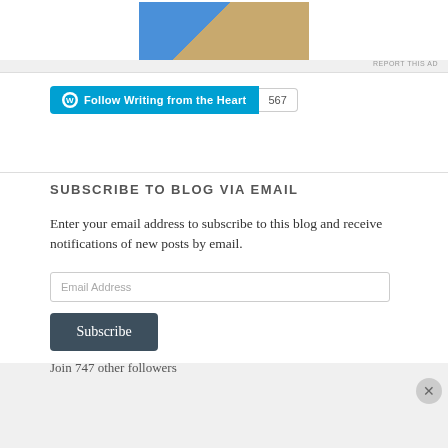[Figure (photo): Partial photo of two people, one wearing blue top and one wearing tan/beige pants, cropped at top of page]
REPORT THIS AD
[Figure (other): WordPress Follow button: Follow Writing from the Heart with follower count 567]
SUBSCRIBE TO BLOG VIA EMAIL
Enter your email address to subscribe to this blog and receive notifications of new posts by email.
Email Address
Subscribe
Join 747 other followers
Advertisements
[Figure (other): DuckDuckGo advertisement banner: Search, browse, and email with more privacy. All in One Free App. DuckDuckGo logo on right.]